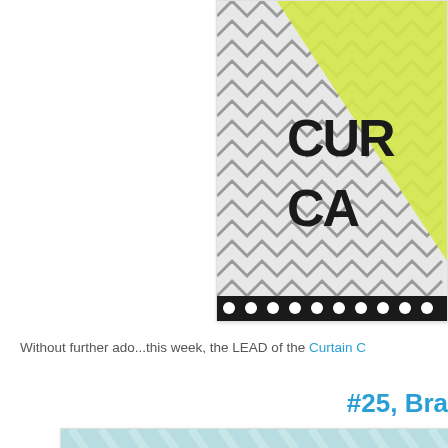[Figure (illustration): Partially visible logo/badge with chevron pattern background in grey, yellow-green diagonal shape, and bold stylized text reading 'CUR' and 'CA' in black on a film-strip style border with dots at bottom]
Without further ado...this week, the LEAD of the Curtain C
#25, Bra
[Figure (photo): Crafting/scrapbooking photo showing light blue diagonal striped patterned paper with a coral/salmon colored card or paper layered on top]